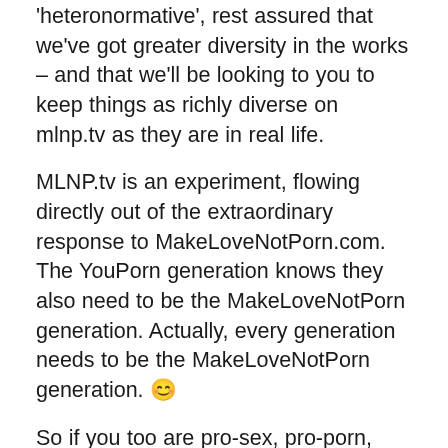'heteronormative', rest assured that we've got greater diversity in the works – and that we'll be looking to you to keep things as richly diverse on mlnp.tv as they are in real life.
MLNP.tv is an experiment, flowing directly out of the extraordinary response to MakeLoveNotPorn.com.  The YouPorn generation knows they also need to be the MakeLoveNotPorn generation. Actually, every generation needs to be the MakeLoveNotPorn generation. 😊
So if you too are pro-sex, pro-porn, pro-knowing the difference – please join us. Submit, rent, earn, play, share – and enjoy!
Cindy, Sarah, Michael, Corey, Daniel and Oonie & the extended band of unruly nerds who  helped make it all happen